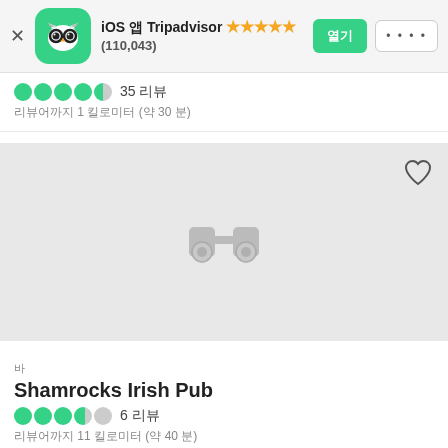[Figure (screenshot): Tripadvisor app banner with owl logo icon, iOS rating 4.5 stars (110,043 reviews), open and more buttons]
35 리뷰
리뷰어까지 1 킬로미터 (약 30 분)
[Figure (map): Gray map placeholder area with binoculars icon in center and heart icon in top right]
바
Shamrocks Irish Pub
6 리뷰
리뷰어까지 11 킬로미터 (약 40 분)